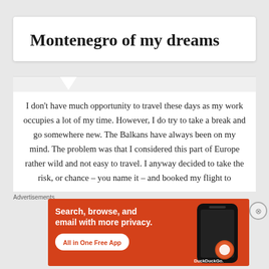Montenegro of my dreams
I don't have much opportunity to travel these days as my work occupies a lot of my time. However, I do try to take a break and go somewhere new. The Balkans have always been on my mind. The problem was that I considered this part of Europe rather wild and not easy to travel. I anyway decided to take the risk, or chance – you name it – and booked my flight to
Advertisements
[Figure (screenshot): DuckDuckGo advertisement banner with orange background showing 'Search, browse, and email with more privacy. All in One Free App' with a phone mockup and DuckDuckGo logo]